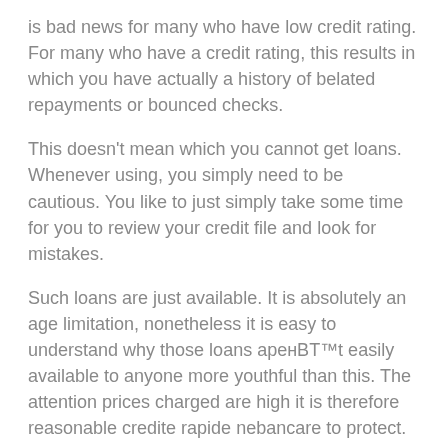is bad news for many who have low credit rating. For many who have a credit rating, this results in which you have actually a history of belated repayments or bounced checks.
This doesn’t mean which you cannot get loans. Whenever using, you simply need to be cautious. You like to just simply take some time for you to review your credit file and look for mistakes.
Such loans are just available. It is absolutely an age limitation, nonetheless it is easy to understand why those loans arenвЂ™t easily available to anyone more youthful than this. The attention prices charged are high it is therefore reasonable credite rapide nebancare to protect.
These loans for bad credit are now actually hard to have. YouвЂ™re not likely to have the opportunity to get you. The whole point associated with the training should be to protect the creditor from fraudulence and company that is lousy.